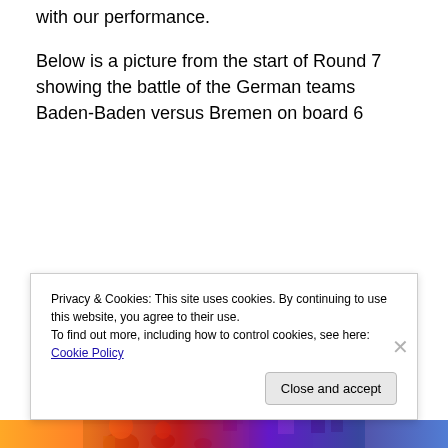with our performance.
Below is a picture from the start of Round 7 showing the battle of the German teams Baden-Baden versus Bremen on board 6
[Figure (photo): Blurry photo of people seated at tables in a room with teal/blue partition walls, appears to be a chess tournament venue. Several people visible in the foreground and background.]
Privacy & Cookies: This site uses cookies. By continuing to use this website, you agree to their use.
To find out more, including how to control cookies, see here: Cookie Policy
Close and accept